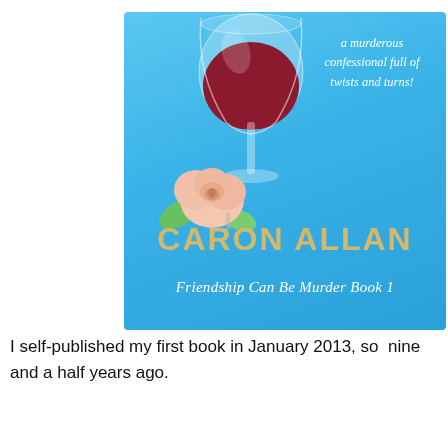[Figure (illustration): Book cover for 'Friendship Can Be Murder Book 1' by Caron Allan. Sky blue gradient background with a wine glass containing red wine, a pink rose at the base of the glass stem, and italic white text reading 'a murderous confessional full of twists and turns!' on the right. Author name CARON ALLAN in large gold letters, subtitle 'Friendship Can Be Murder Book 1' in white italic script.]
I self-published my first book in January 2013, so  nine and a half years ago.